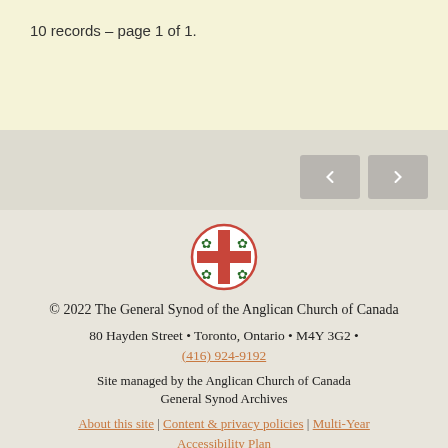10 records – page 1 of 1.
[Figure (logo): Anglican Church of Canada logo: circular emblem with red cross and green maple leaves]
© 2022 The General Synod of the Anglican Church of Canada
80 Hayden Street • Toronto, Ontario • M4Y 3G2 • (416) 924-9192
Site managed by the Anglican Church of Canada General Synod Archives
About this site | Content & privacy policies | Multi-Year Accessibility Plan
email the Anglican Church